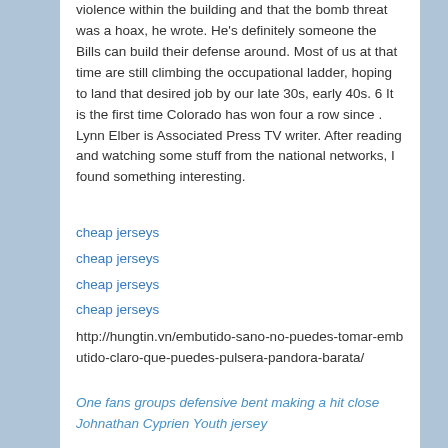violence within the building and that the bomb threat was a hoax, he wrote. He's definitely someone the Bills can build their defense around. Most of us at that time are still climbing the occupational ladder, hoping to land that desired job by our late 30s, early 40s. 6 It is the first time Colorado has won four a row since . Lynn Elber is Associated Press TV writer. After reading and watching some stuff from the national networks, I found something interesting.
cheap jerseys
cheap jerseys
cheap jerseys
cheap jerseys
http://hungtin.vn/embutido-sano-no-puedes-tomar-embutido-claro-que-puedes-pulsera-pandora-barata/
One fans groups defensive bent making a hit close Johnathan Cyprien Youth jersey
This entry was posted in Uncategorized by . Bookmark the permalink.